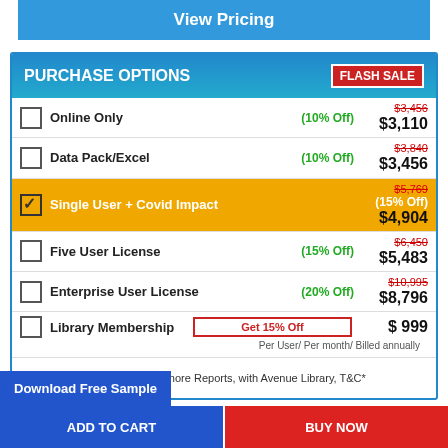View Pricing
| Option | Discount | Old Price | New Price |
| --- | --- | --- | --- |
| Online Only | (10% Off) | $3,456 | $3,110 |
| Data Pack/Excel | (10% Off) | $3,840 | $3,456 |
| Single User + Covid Impact | (15% Off) | $5,769 | $4,904 |
| Five User License | (15% Off) | $6,450 | $5,483 |
| Enterprise User License | (20% Off) | $10,995 | $8,796 |
| Library Membership | Get 15% Off |  | $ 999 |
Per User/ Per month/ Billed annually
This Report and over 13000+ more Reports, with Avenue Library, T&C*
Download Free Sample
ADD TO CART
BUY NOW